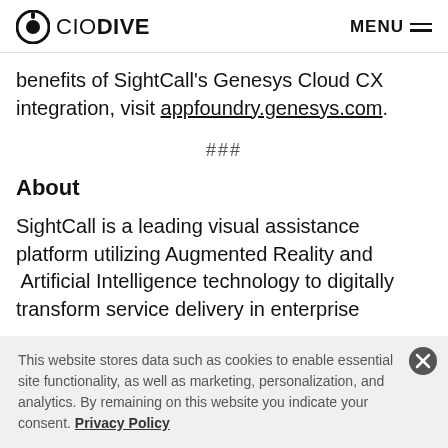CIO DIVE  MENU
benefits of SightCall's Genesys Cloud CX integration, visit appfoundry.genesys.com.
###
About
SightCall is a leading visual assistance platform utilizing Augmented Reality and  Artificial Intelligence technology to digitally transform service delivery in enterprise
This website stores data such as cookies to enable essential site functionality, as well as marketing, personalization, and analytics. By remaining on this website you indicate your consent. Privacy Policy